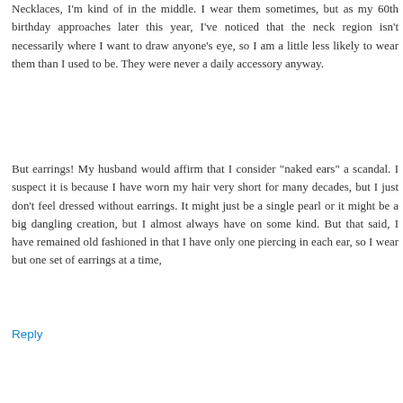Necklaces, I'm kind of in the middle. I wear them sometimes, but as my 60th birthday approaches later this year, I've noticed that the neck region isn't necessarily where I want to draw anyone's eye, so I am a little less likely to wear them than I used to be. They were never a daily accessory anyway.
But earrings! My husband would affirm that I consider "naked ears" a scandal. I suspect it is because I have worn my hair very short for many decades, but I just don't feel dressed without earrings. It might just be a single pearl or it might be a big dangling creation, but I almost always have on some kind. But that said, I have remained old fashioned in that I have only one piercing in each ear, so I wear but one set of earrings at a time,
Reply
Replies
Elisabeth  July 23, 2018 at 9:25 AM
Susan, I too feel naked without earrings (just one piercing per ear here as well). I have also